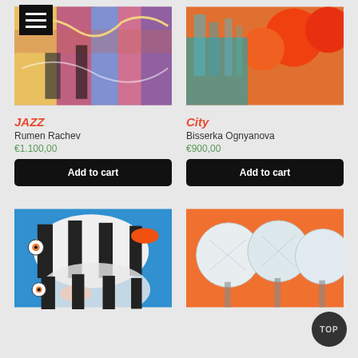[Figure (photo): Colorful abstract painting of jazz musicians playing instruments]
JAZZ
Rumen Rachev
€1.100,00
[Figure (photo): Abstract city painting with orange trees/circles and buildings]
City
Bisserka Ognyanova
€900,00
[Figure (photo): Painting of striped tropical fish in blue water with orange small fish]
[Figure (photo): Painting of white round trees on orange background]